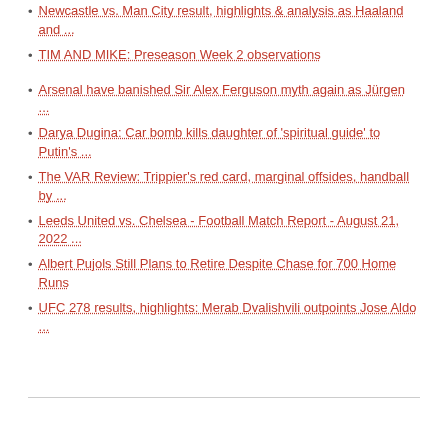Newcastle vs. Man City result, highlights & analysis as Haaland and ...
TIM AND MIKE: Preseason Week 2 observations
Arsenal have banished Sir Alex Ferguson myth again as Jürgen ...
Darya Dugina: Car bomb kills daughter of 'spiritual guide' to Putin's ...
The VAR Review: Trippier's red card, marginal offsides, handball by ...
Leeds United vs. Chelsea - Football Match Report - August 21, 2022 ...
Albert Pujols Still Plans to Retire Despite Chase for 700 Home Runs
UFC 278 results, highlights: Merab Dvalishvili outpoints Jose Aldo ...